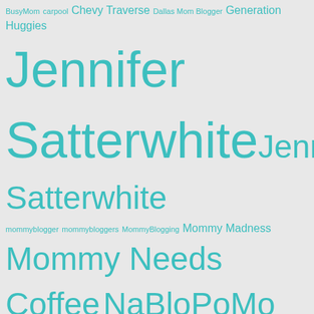BusyMom carpool Chevy Traverse Dallas Mom Blogger Generation Huggies Jennifer Satterwhite Jenn Satterwhite mommyblogger mommybloggers MommyBlogging Mommy Madness Mommy Needs Coffee NaBloPoMo Nintendo Parenting Post swag theMotherhood.com Wii Wii Fit writing
Categories
Political Ponderings  (1)
Archives
Select Month